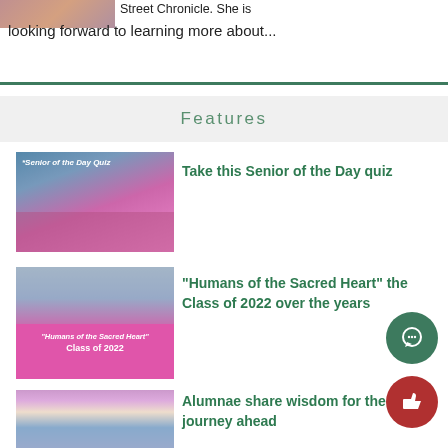[Figure (photo): Partial photo at top left, cropped]
Street Chronicle. She is looking forward to learning more about...
[Figure (illustration): Green horizontal divider line]
Features
[Figure (photo): Group of girls in pink outfits with text 'Senior of the Day Quiz']
Take this Senior of the Day quiz
[Figure (photo): Photo collage with pink banner reading 'Humans of the Sacred Heart Class of 2022']
“Humans of the Sacred Heart” the Class of 2022 over the years
[Figure (photo): Photo with pink/blue tones showing building and graduates]
Alumnae share wisdom for the journey ahead